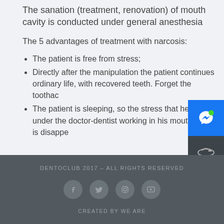The sanation (treatment, renovation) of mouth cavity is conducted under general anesthesia
The 5 advantages of treatment with narcosis:
The patient is free from stress;
Directly after the manipulation the patient continues ordinary life, with recovered teeth. Forget the toothache
The patient is sleeping, so the stress that he is under the doctor-dentist working in his mouth cavity is disappeared
DENTOCLUB 2017 – ALL RIGHTS RESERVED
CREATED BY WE ARE